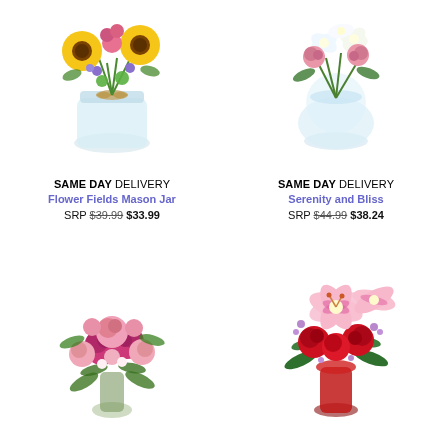[Figure (photo): Floral arrangement in a mason jar with sunflowers, pink and purple flowers, green pompoms]
SAME DAY DELIVERY
Flower Fields Mason Jar
SRP $39.99 $33.99
[Figure (photo): Floral arrangement in a round clear vase with white lilies and pink roses]
SAME DAY DELIVERY
Serenity and Bliss
SRP $44.99 $38.24
[Figure (photo): Lush bouquet of pink and deep pink roses with greenery]
[Figure (photo): Bouquet of red roses and stargazer lilies in a red vase with purple wax flowers]